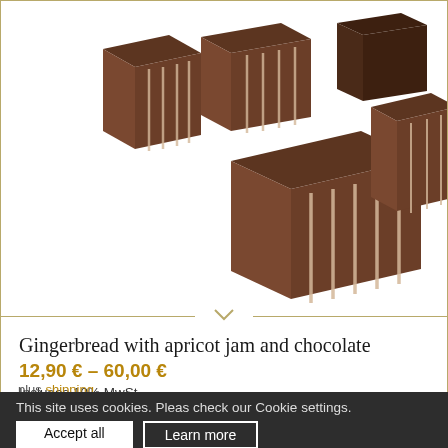[Figure (photo): Chocolate-covered gingerbread pieces with white stripe decoration on a white background. Multiple rectangular shaped chocolates arranged in a group.]
Gingerbread with apricot jam and chocolate
12,90 € – 60,00 €
Includes 10% MwSt.
plus shipping
This site uses cookies. Pleas check our Cookie settings.
Accept all
Learn more